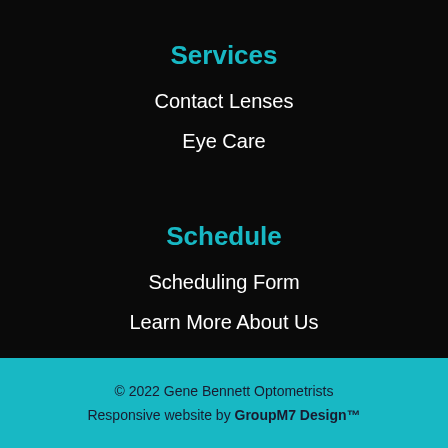Services
Contact Lenses
Eye Care
Schedule
Scheduling Form
Learn More About Us
© 2022 Gene Bennett Optometrists Responsive website by GroupM7 Design™